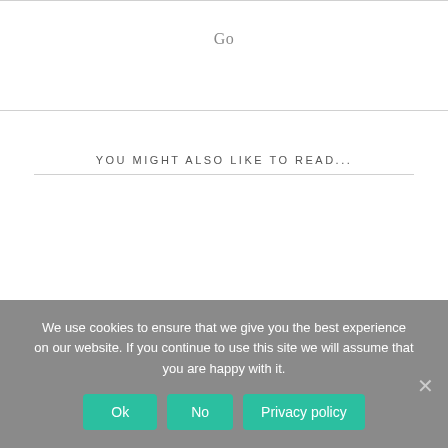Go
YOU MIGHT ALSO LIKE TO READ...
We use cookies to ensure that we give you the best experience on our website. If you continue to use this site we will assume that you are happy with it.
Ok | No | Privacy policy